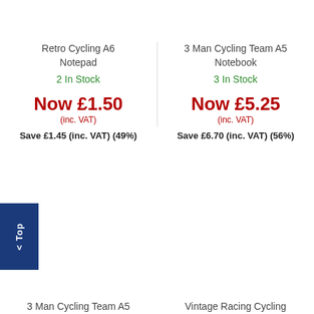Retro Cycling A6 Notepad
2 In Stock
Now £1.50 (inc. VAT)
Save £1.45 (inc. VAT) (49%)
3 Man Cycling Team A5 Notebook
3 In Stock
Now £5.25 (inc. VAT)
Save £6.70 (inc. VAT) (56%)
< Top
3 Man Cycling Team A5
Vintage Racing Cycling